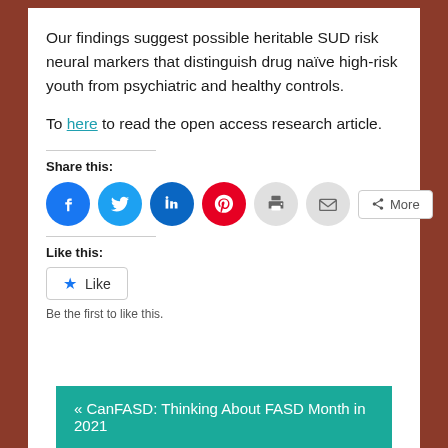Our findings suggest possible heritable SUD risk neural markers that distinguish drug naïve high-risk youth from psychiatric and healthy controls.
To here to read the open access research article.
Share this:
[Figure (infographic): Social share buttons: Facebook (blue circle), Twitter (light blue circle), LinkedIn (dark blue circle), Pinterest (red circle), Print (gray circle), Email (gray circle), and a More button]
Like this:
[Figure (infographic): Like button with star icon and text 'Like']
Be the first to like this.
« CanFASD: Thinking About FASD Month in 2021